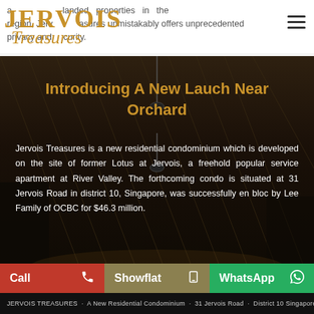Jervois Treasures — landed properties in the region, Jervois Treasures unmistakably offers unprecedented privacy and security.
Introducing A New Lauch Near Orchard
Jervois Treasures is a new residential condominium which is developed on the site of former Lotus at Jervois, a freehold popular service apartment at River Valley. The forthcoming condo is situated at 31 Jervois Road in district 10, Singapore, was successfully en bloc by Lee Family of OCBC for $46.3 million.
Call | Showflat | WhatsApp